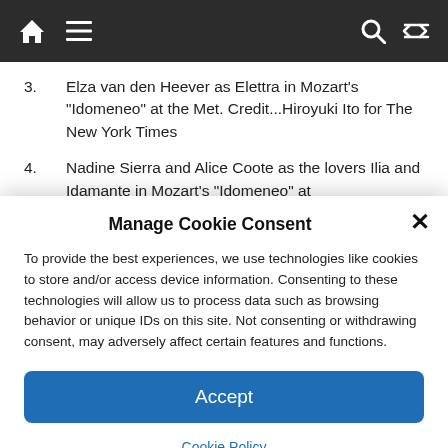Navigation bar with home, menu, search, and shuffle icons
3.      Elza van den Heever as Elettra in Mozart's “Idomeneo” at the Met. Credit...Hiroyuki Ito for The New York Times
4.      Nadine Sierra and Alice Coote as the lovers Ilia and Idamante in Mozart’s “Idomeneo” at
Manage Cookie Consent
To provide the best experiences, we use technologies like cookies to store and/or access device information. Consenting to these technologies will allow us to process data such as browsing behavior or unique IDs on this site. Not consenting or withdrawing consent, may adversely affect certain features and functions.
Accept
Cookie Policy